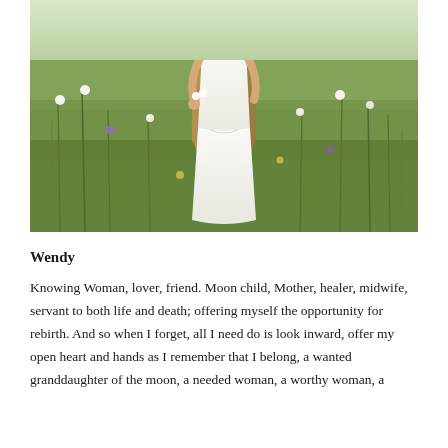[Figure (photo): A woman in a white dress standing in a wildflower meadow, holding flowers, with long hair, surrounded by tall grasses and wildflowers.]
Wendy
Knowing Woman, lover, friend. Moon child, Mother, healer, midwife, servant to both life and death; offering myself the opportunity for rebirth. And so when I forget, all I need do is look inward, offer my open heart and hands as I remember that I belong, a wanted granddaughter of the moon, a needed woman, a worthy woman, a